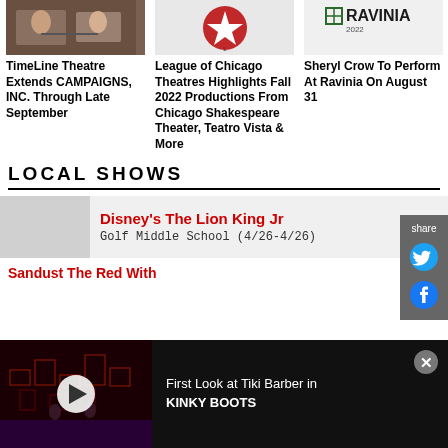[Figure (photo): Theatre performance photo showing actors on stage shaking hands]
TimeLine Theatre Extends CAMPAIGNS, INC. Through Late September
[Figure (logo): League of Chicago Theatres logo - red circle with star]
League of Chicago Theatres Highlights Fall 2022 Productions From Chicago Shakespeare Theater, Teatro Vista & More
[Figure (logo): Ravinia 2022 logo]
Sheryl Crow To Perform At Ravinia On August 31
LOCAL SHOWS
Disney's The Lion King Jr
Golf Middle School (4/26-4/26)
[Figure (screenshot): Video advertisement thumbnail showing stage set with red lighting for Kinky Boots]
First Look at Tiki Barber in KINKY BOOTS